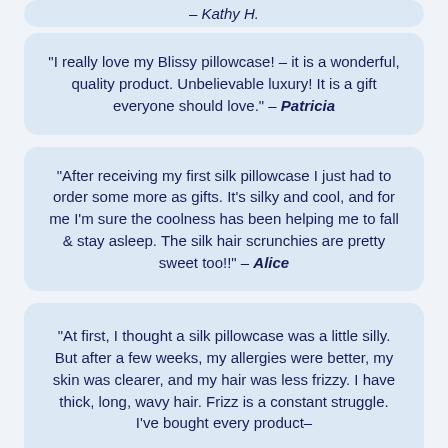– Kathy H.
"I really love my Blissy pillowcase! – it is a wonderful, quality product. Unbelievable luxury! It is a gift everyone should love." – Patricia
"After receiving my first silk pillowcase I just had to order some more as gifts. It's silky and cool, and for me I'm sure the coolness has been helping me to fall & stay asleep. The silk hair scrunchies are pretty sweet too!!" – Alice
"At first, I thought a silk pillowcase was a little silly. But after a few weeks, my allergies were better, my skin was clearer, and my hair was less frizzy. I have thick, long, wavy hair. Frizz is a constant struggle. I've bought every product–